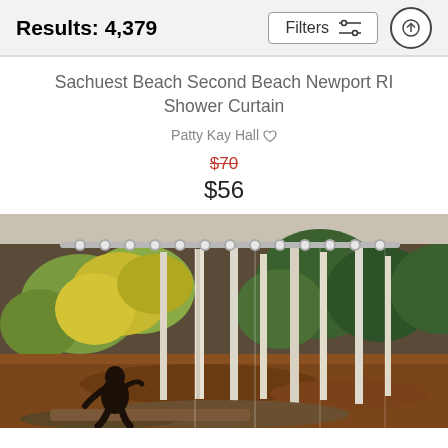Results: 4,379
Filters
Sachuest Beach Second Beach Newport RI Shower Curtain
Patty Kay Hall
$70
$56
[Figure (photo): A shower curtain displayed on a rod showing a forest scene with tall thin birch/pale trees, autumn foliage (yellow, green, orange-red), and a dark bigfoot-like figure walking in the lower left foreground on rocky ground.]